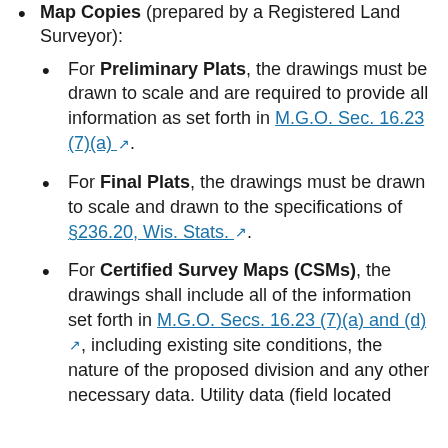Map Copies (prepared by a Registered Land Surveyor):
For Preliminary Plats, the drawings must be drawn to scale and are required to provide all information as set forth in M.G.O. Sec. 16.23 (7)(a).
For Final Plats, the drawings must be drawn to scale and drawn to the specifications of §236.20, Wis. Stats.
For Certified Survey Maps (CSMs), the drawings shall include all of the information set forth in M.G.O. Secs. 16.23 (7)(a) and (d), including existing site conditions, the nature of the proposed division and any other necessary data. Utility data (field located